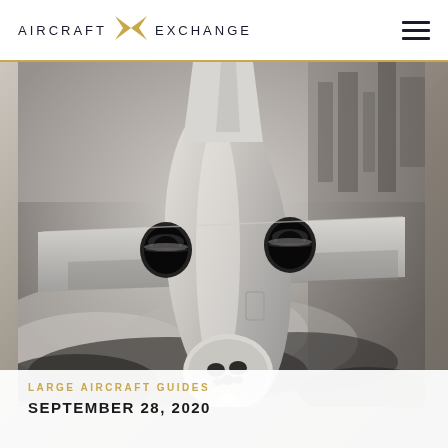AIRCRAFT EXCHANGE
[Figure (photo): Aerial black and white photograph of a large private/business jet viewed from above and slightly in front, showing the aircraft flying over a cityscape with clouds. The aircraft has two rear-mounted engines visible and the nose/cockpit area is prominent.]
LARGE AIRCRAFT GUIDES
SEPTEMBER 28, 2020